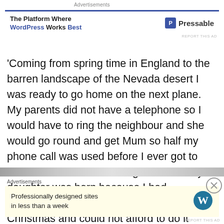Advertisements
[Figure (infographic): Advertisement banner: 'The Platform Where WordPress Works Best' with Pressable logo]
'Coming from spring time in England to the barren landscape of the Nevada desert I was ready to go home on the next plane. My parents did not have a telephone so I would have to ring the neighbour and she would go round and get Mum so half my phone call was used before I ever got to hear her voice. Sent a telegram when my daughter was born because I had telephoned her just two weeks earlier for Christmas and could not afford to do it again.'
[Figure (infographic): Bottom advertisement banner: 'Professionally designed sites in less than a week' with WordPress logo]
Advertisements